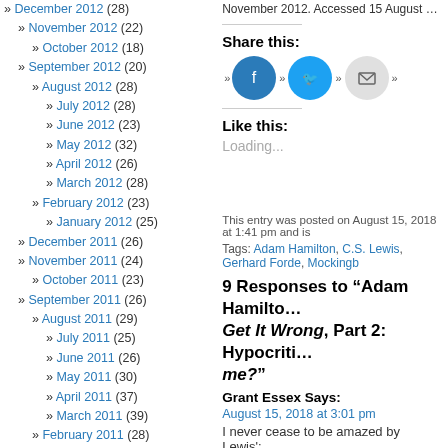» December 2012 (28)
» November 2012 (22)
» October 2012 (18)
» September 2012 (20)
» August 2012 (28)
» July 2012 (28)
» June 2012 (23)
» May 2012 (32)
» April 2012 (26)
» March 2012 (28)
» February 2012 (23)
» January 2012 (25)
» December 2011 (26)
» November 2011 (24)
» October 2011 (23)
» September 2011 (26)
» August 2011 (29)
» July 2011 (25)
» June 2011 (26)
» May 2011 (30)
» April 2011 (37)
» March 2011 (39)
» February 2011 (28)
» January 2011 (28)
» December 2010 (28)
» November 2010 (26)
» October 2010 (26)
» September 2010 (19)
» August 2010 (23)
» July 2010 (15)
» June 2010 (22)
» May 2010 (24)
» April 2010 (15)
November 2012. Accessed 15 August 2018
Share this:
Like this:
Loading...
This entry was posted on August 15, 2018 at 1:41 pm and is
Tags: Adam Hamilton, C.S. Lewis, Gerhard Forde, Mockingb
9 Responses to “Adam Hamilto… Get It Wrong, Part 2: Hypocriti… me?”
Grant Essex Says:
August 15, 2018 at 3:01 pm
I never cease to be amazed by Lewis':